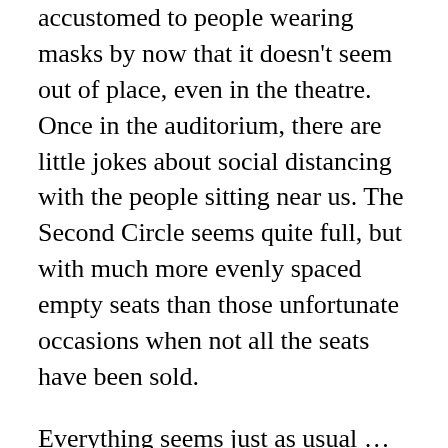accustomed to people wearing masks by now that it doesn't seem out of place, even in the theatre.  Once in the auditorium, there are little jokes about social distancing with the people sitting near us.  The Second Circle seems quite full, but with much more evenly spaced empty seats than those unfortunate occasions when not all the seats have been sold.
Everything seems just as usual … until the lights go down and Artistic Director of Sadler's Wells Alastair Spalding arrives on the stage with Patrick Harrison, Executive Director of English National Ballet.  They greet us with emotion in their voices, whereupon the theatre erupts with joyous cheers, whoops, clapping